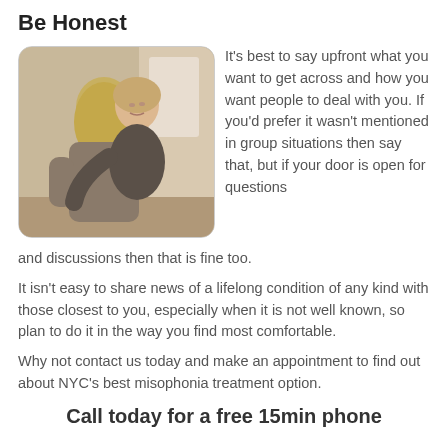Be Honest
[Figure (photo): Two women hugging, one facing away with blonde hair, the other with her eyes closed smiling, photographed indoors]
It's best to say upfront what you want to get across and how you want people to deal with you. If you'd prefer it wasn't mentioned in group situations then say that, but if your door is open for questions and discussions then that is fine too.
It isn't easy to share news of a lifelong condition of any kind with those closest to you, especially when it is not well known, so plan to do it in the way you find most comfortable.
Why not contact us today and make an appointment to find out about NYC's best misophonia treatment option.
Call today for a free 15min phone